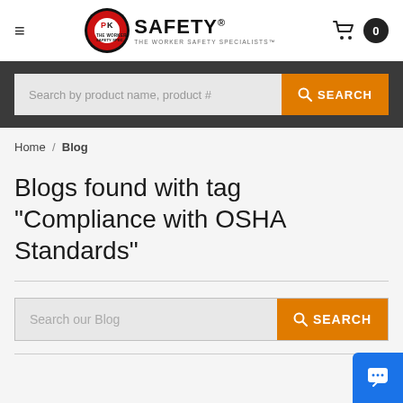[Figure (logo): PK Safety logo with red/black circle badge and 'PK SAFETY - THE WORKER SAFETY SPECIALISTS' text]
PK SAFETY - THE WORKER SAFETY SPECIALISTS
Search by product name, product #
Home / Blog
Blogs found with tag "Compliance with OSHA Standards"
Search our Blog